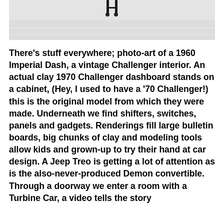[Figure (photo): Partial photo of an interior space, showing what appears to be a chair or stool at the top of the frame against a light-colored background, cropped at the bottom.]
There's stuff everywhere; photo-art of a 1960 Imperial Dash, a vintage Challenger interior. An actual clay 1970 Challenger dashboard stands on a cabinet, (Hey, I used to have a '70 Challenger!) this is the original model from which they were made. Underneath we find shifters, switches, panels and gadgets. Renderings fill large bulletin boards, big chunks of clay and modeling tools allow kids and grown-up to try their hand at car design. A Jeep Treo is getting a lot of attention as is the also-never-produced Demon convertible. Through a doorway we enter a room with a Turbine Car, a video tells the story